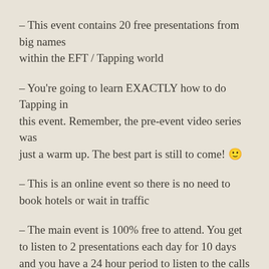– This event contains 20 free presentations from big names within the EFT / Tapping world
– You're going to learn EXACTLY how to do Tapping in this event. Remember, the pre-event video series was just a warm up. The best part is still to come! 🙂
– This is an online event so there is no need to book hotels or wait in traffic
– The main event is 100% free to attend. You get to listen to 2 presentations each day for 10 days and you have a 24 hour period to listen to the calls